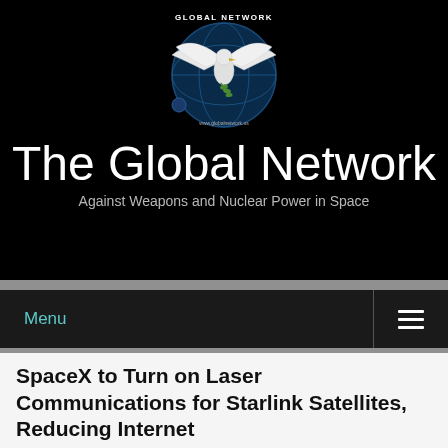[Figure (logo): Global Network logo with a dove/eagle holding an olive branch over a globe, with text 'GLOBAL NETWORK' above and website URL below]
The Global Network
Against Weapons and Nuclear Power in Space
Menu
[Figure (other): Social media icons (two small teal/cyan icons)]
SpaceX to Turn on Laser Communications for Starlink Satellites, Reducing Internet